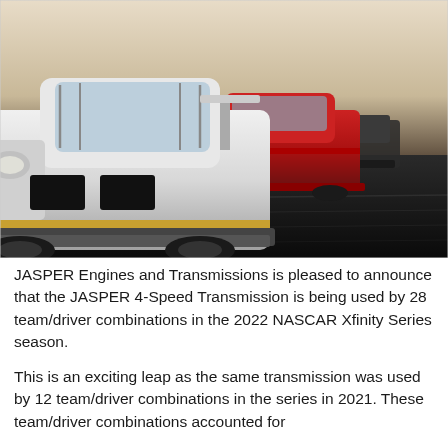[Figure (photo): Three NASCAR-style stock cars racing on a track. The lead car is white with black and gold accents, a red car is behind it to the right, and a dark car is further back. The background shows a blurred track surface and a pale sky horizon.]
JASPER Engines and Transmissions is pleased to announce that the JASPER 4-Speed Transmission is being used by 28 team/driver combinations in the 2022 NASCAR Xfinity Series season.
This is an exciting leap as the same transmission was used by 12 team/driver combinations in the series in 2021. These team/driver combinations accounted for